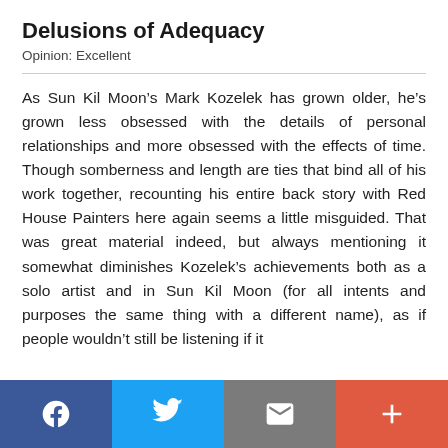Delusions of Adequacy
Opinion: Excellent
As Sun Kil Moon's Mark Kozelek has grown older, he's grown less obsessed with the details of personal relationships and more obsessed with the effects of time. Though somberness and length are ties that bind all of his work together, recounting his entire back story with Red House Painters here again seems a little misguided. That was great material indeed, but always mentioning it somewhat diminishes Kozelek's achievements both as a solo artist and in Sun Kil Moon (for all intents and purposes the same thing with a different name), as if people wouldn't still be listening if it